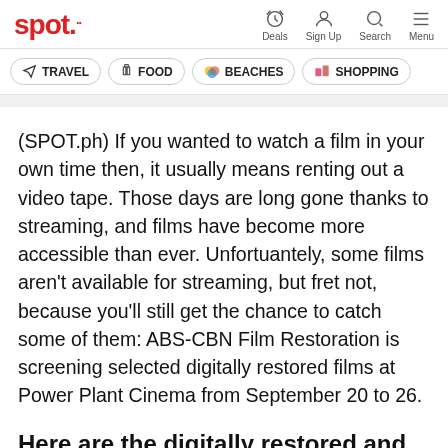spot. | Deals | Sign Up | Search | Menu
TRAVEL
FOOD
BEACHES
SHOPPING
(SPOT.ph) If you wanted to watch a film in your own time then, it usually means renting out a video tape. Those days are long gone thanks to streaming, and films have become more accessible than ever. Unfortuantely, some films aren't available for streaming, but fret not, because you'll still get the chance to catch some of them: ABS-CBN Film Restoration is screening selected digitally restored films at Power Plant Cinema from September 20 to 26.
Here are the digitally restored and